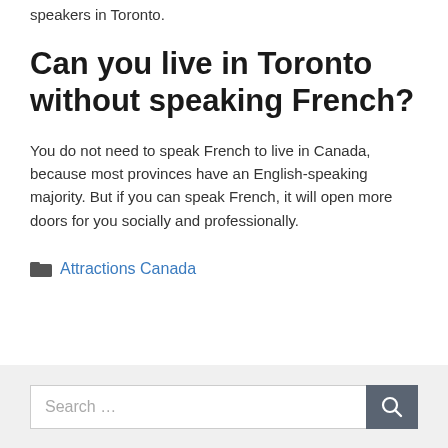speakers in Toronto.
Can you live in Toronto without speaking French?
You do not need to speak French to live in Canada, because most provinces have an English-speaking majority. But if you can speak French, it will open more doors for you socially and professionally.
Attractions Canada